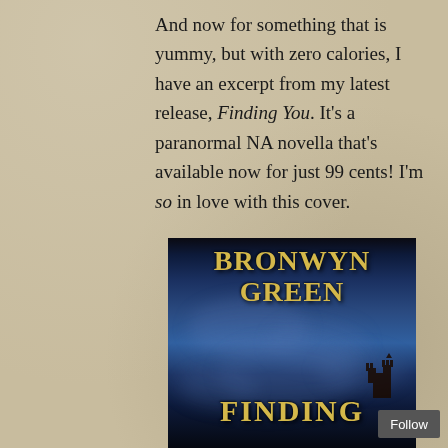And now for something that is yummy, but with zero calories, I have an excerpt from my latest release, Finding You. It's a paranormal NA novella that's available now for just 99 cents! I'm so in love with this cover.
[Figure (illustration): Book cover for 'Finding You' by Bronwyn Green. Dark blue stormy sky background with the author name 'BRONWYN GREEN' in large gold lettering at the top and 'FINDING' partially visible at the bottom in gold letters. A castle silhouette is visible in the lower right.]